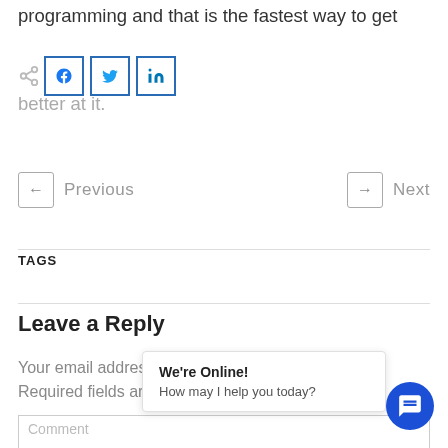programming and that is the fastest way to get better at it.
[Figure (other): Social share buttons: share icon, Facebook (f), Twitter (bird), LinkedIn (in)]
← Previous      → Next
TAGS
Leave a Reply
Your email address will not be published. Required fields are marked
Comment
We're Online! How may I help you today?